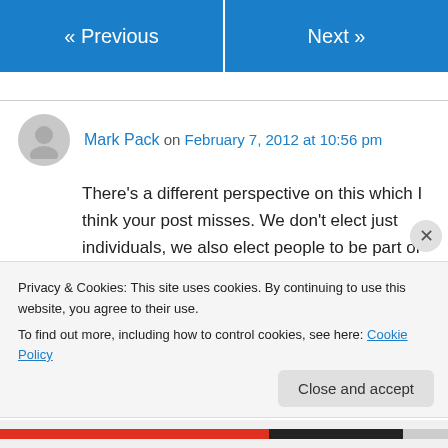« Previous   Next »
Mark Pack on February 7, 2012 at 10:56 pm
There's a different perspective on this which I think your post misses. We don't elect just individuals, we also elect people to be part of a group or team. MPs are not just the MP for X, they are also part of the Liberal Democrat leadership team, part of the Liberal Democrat
Privacy & Cookies: This site uses cookies. By continuing to use this website, you agree to their use.
To find out more, including how to control cookies, see here: Cookie Policy
Close and accept